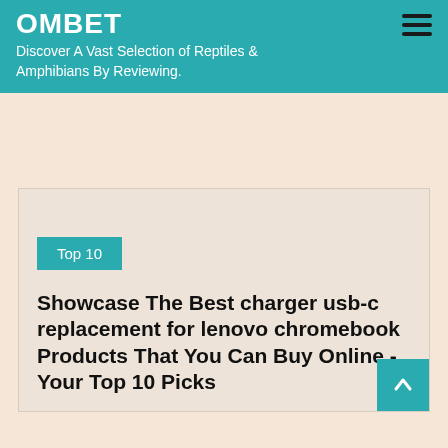OMBET - Discover A Vast Selection of Reptiles & Amphibians By Reviewing.
Showcase The Best charger usb-c replacement for lenovo chromebook Products That You Can Buy Online - Your Top 10 Picks
Top 10